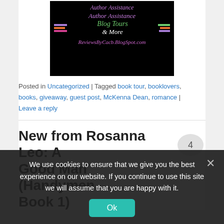[Figure (logo): Blog banner with black background showing 'Author Assistance Blog Tours & More ReviewsByCacb.BlogSpot.com' with colored book stack graphics]
Posted in Uncategorized | Tagged book tour, booklovers, books, giveaway, guest post, McKenna Dean, romance | Leave a reply
New from Rosanna Leo: A Good Man (Handymen Book 1)
We use cookies to ensure that we give you the best experience on our website. If you continue to use this site we will assume that you are happy with it.